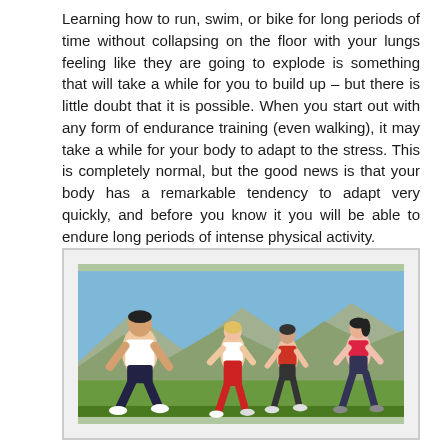Learning how to run, swim, or bike for long periods of time without collapsing on the floor with your lungs feeling like they are going to explode is something that will take a while for you to build up – but there is little doubt that it is possible. When you start out with any form of endurance training (even walking), it may take a while for your body to adapt to the stress. This is completely normal, but the good news is that your body has a remarkable tendency to adapt very quickly, and before you know it you will be able to endure long periods of intense physical activity.
[Figure (photo): Four people running outdoors on a path with green fields and mountains in the background under a blue sky. A large man in white tank top and dark shorts leads, followed by a blonde woman in white top and red pants, a man in red shirt and dark shorts, and a woman in red sports bra and dark shorts.]